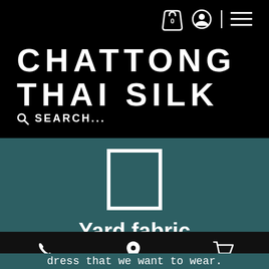Chattong Thai Silk — navigation bar with cart, user, and menu icons
CHATTONG THAI SILK
SEARCH...
[Figure (illustration): White-bordered square icon on teal background representing yard fabric product]
Yard fabric
The selection of tailoring
Bottom navigation bar with phone, location, and cart icons
dress that we want to wear.